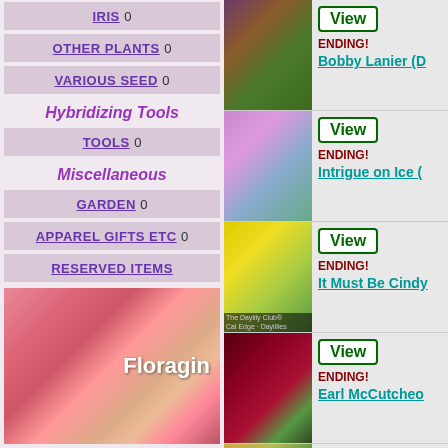IRIS 0
OTHER PLANTS 0
VARIOUS SEED 0
Hybridizing Tools
TOOLS 0
Miscellaneous
GARDEN 0
APPAREL GIFTS ETC 0
RESERVED ITEMS
[Figure (photo): Close-up photo of pink ruffled daylily flowers with green foliage, with text 'Floragin' overlaid]
[Figure (photo): Dark red and yellow-green daylily flower]
View
ENDING!
Bobby Lanier (D
[Figure (photo): Light purple/lavender daylily flower]
View
ENDING!
Intrigue on Ice (
[Figure (photo): Bright yellow daylily flower]
View
ENDING!
It Must Be Cindy
[Figure (photo): Dark burgundy/red daylily flower with yellow-green center]
View
ENDING!
Earl McCutcheo
[Figure (photo): Partial view of another daylily listing at bottom]
View